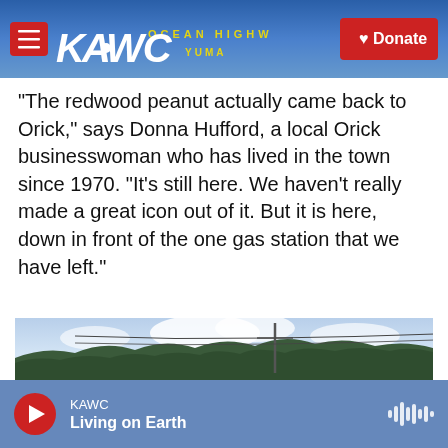[Figure (screenshot): KAWC radio station website header with logo, hamburger menu button, and Donate button over a blue sky background photo of a sign]
"The redwood peanut actually came back to Orick," says Donna Hufford, a local Orick businesswoman who has lived in the town since 1970. "It's still here. We haven't really made a great icon out of it. But it is here, down in front of the one gas station that we have left."
[Figure (photo): Landscape photo showing a utility pole against a cloudy blue sky with a ridge of dark green conifer trees in the background]
KAWC  Living on Earth